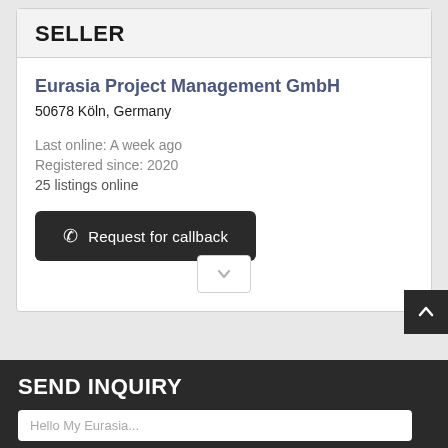SELLER
Eurasia Project Management GmbH
50678 Köln, Germany
Last online: A week ago
Registered since: 2020
25 listings online
Request for callback
SEND INQUIRY
Hello My Eurasia...